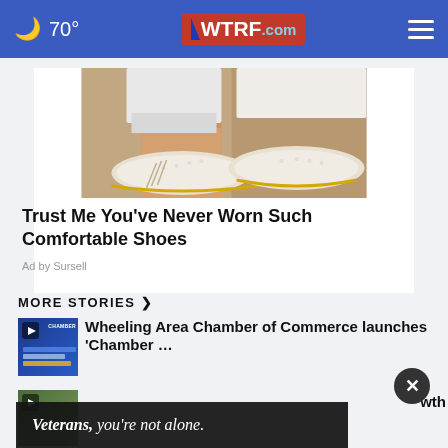70° WTRF.com
[Figure (photo): Close-up photo of a person's feet wearing white casual slip-on shoes with decorative perforations and fringe detail, against a light background]
Trust Me You've Never Worn Such Comfortable Shoes
Ad by Sursell
MORE STORIES ❯
[Figure (screenshot): Thumbnail of Wheeling Area Chamber of Commerce video story with blue Chamber logo graphic]
Wheeling Area Chamber of Commerce launches 'Chamber …
[Figure (screenshot): Thumbnail of a second news story video]
wth
[Figure (infographic): Ad banner: Veterans, you're not alone.]
✕